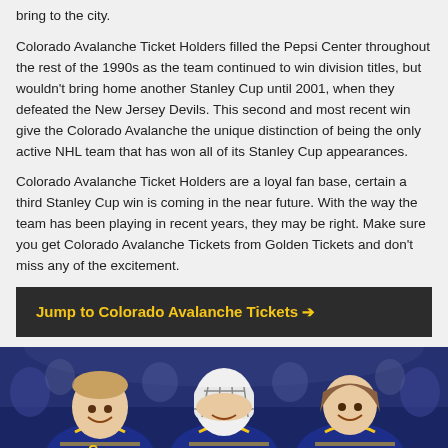bring to the city.
Colorado Avalanche Ticket Holders filled the Pepsi Center throughout the rest of the 1990s as the team continued to win division titles, but wouldn't bring home another Stanley Cup until 2001, when they defeated the New Jersey Devils. This second and most recent win give the Colorado Avalanche the unique distinction of being the only active NHL team that has won all of its Stanley Cup appearances.
Colorado Avalanche Ticket Holders are a loyal fan base, certain a third Stanley Cup win is coming in the near future. With the way the team has been playing in recent years, they may be right. Make sure you get Colorado Avalanche Tickets from Golden Tickets and don't miss any of the excitement.
Jump to Colorado Avalanche Tickets ➔
[Figure (photo): Hockey players in blue and yellow jerseys smiling, appearing to be at an NHL All-Star game or similar event. Players wearing jerseys with numbers visible including 91 and 65.]